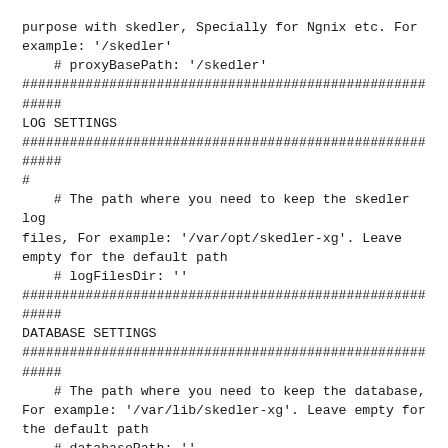purpose with skedler, Specially for Ngnix etc. For example: '/skedler'
    # proxyBasePath: '/skedler'
########################################################
LOG SETTINGS
########################################################
#
    # The path where you need to keep the skedler log files, For example: '/var/opt/skedler-xg'. Leave empty for the default path
    # logFilesDir: ''
########################################################
DATABASE SETTINGS
########################################################
    # The path where you need to keep the database, For example: '/var/lib/skedler-xg'. Leave empty for the default path
    # databasePath: ''
    # Database where skedler is going to store the data, default is 'sqlite'. you can change as 'mysql',